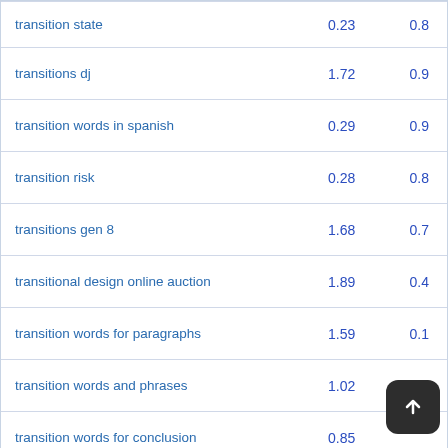| keyword | col1 | col2 |
| --- | --- | --- |
| transition state | 0.23 | 0.8 |
| transitions dj | 1.72 | 0.9 |
| transition words in spanish | 0.29 | 0.9 |
| transition risk | 0.28 | 0.8 |
| transitions gen 8 | 1.68 | 0.7 |
| transitional design online auction | 1.89 | 0.4 |
| transition words for paragraphs | 1.59 | 0.1 |
| transition words and phrases | 1.02 | 0.3 |
| transition words for conclusion | 0.85 |  |